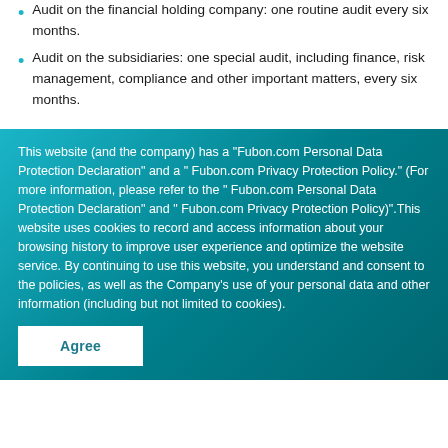Audit on the financial holding company: one routine audit every six months.
Audit on the subsidiaries: one special audit, including finance, risk management, compliance and other important matters, every six months.
This website (and the company) has a "Fubon.com Personal Data Protection Declaration" and a " Fubon.com Privacy Protection Policy." (For more information, please refer to the " Fubon.com Personal Data Protection Declaration" and " Fubon.com Privacy Protection Policy)".This website uses cookies to record and access information about your browsing history to improve user experience and optimize the website service. By continuing to use this website, you understand and consent to the policies, as well as the Company's use of your personal data and other information (including but not limited to cookies).
Agree